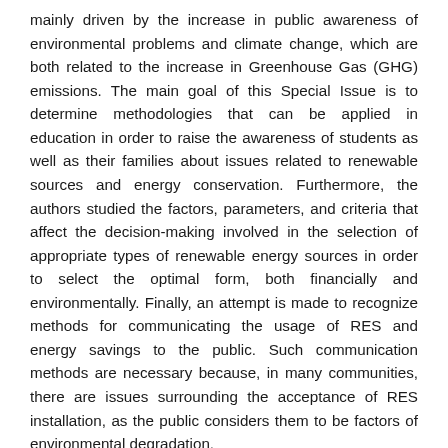mainly driven by the increase in public awareness of environmental problems and climate change, which are both related to the increase in Greenhouse Gas (GHG) emissions. The main goal of this Special Issue is to determine methodologies that can be applied in education in order to raise the awareness of students as well as their families about issues related to renewable sources and energy conservation. Furthermore, the authors studied the factors, parameters, and criteria that affect the decision-making involved in the selection of appropriate types of renewable energy sources in order to select the optimal form, both financially and environmentally. Finally, an attempt is made to recognize methods for communicating the usage of RES and energy savings to the public. Such communication methods are necessary because, in many communities, there are issues surrounding the acceptance of RES installation, as the public considers them to be factors of environmental degradation.